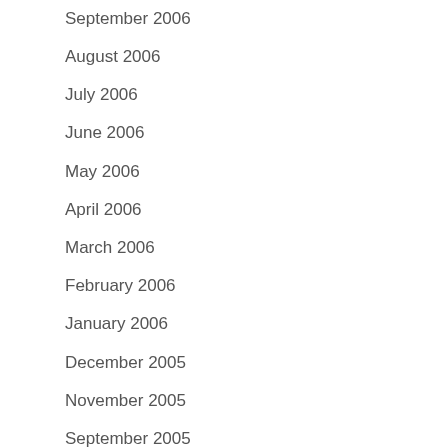September 2006
August 2006
July 2006
June 2006
May 2006
April 2006
March 2006
February 2006
January 2006
December 2005
November 2005
September 2005